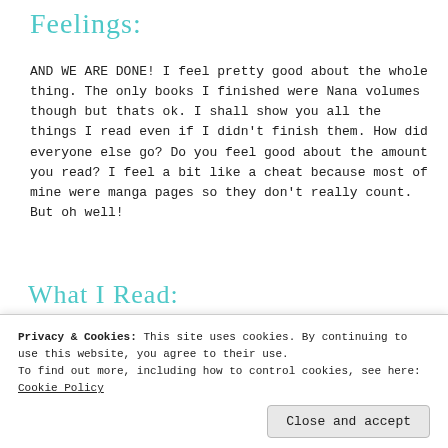Feelings:
AND WE ARE DONE! I feel pretty good about the whole thing. The only books I finished were Nana volumes though but thats ok. I shall show you all the things I read even if I didn't finish them. How did everyone else go? Do you feel good about the amount you read? I feel a bit like a cheat because most of mine were manga pages so they don't really count. But oh well!
What I Read:
[Figure (photo): Three book covers: The Animals of Farthing Wood, Diana Gabaldon book, and NANA manga volume]
Privacy & Cookies: This site uses cookies. By continuing to use this website, you agree to their use.
To find out more, including how to control cookies, see here: Cookie Policy
[Figure (photo): Two more book covers partially visible at the bottom]